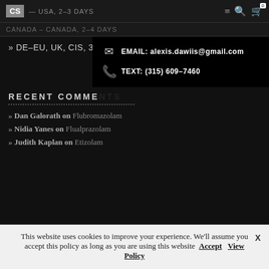CS — USA, 2-3 DAYS
CANADA – CANADA, 2-4 DAYS
» DE–EU, UK, CIS, 3–5 DAYS
EMAIL: alexis.dawiis@gmail.com
TEXT: (315) 609-7460
RECENT COMMENTS
» Dan Galorath on Flubromazolam
» Nidia Yanes on Flualprazolam
» Judith Kaplan on Etizolam
This website uses cookies to improve your experience. We'll assume you accept this policy as long as you are using this website Accept View Policy